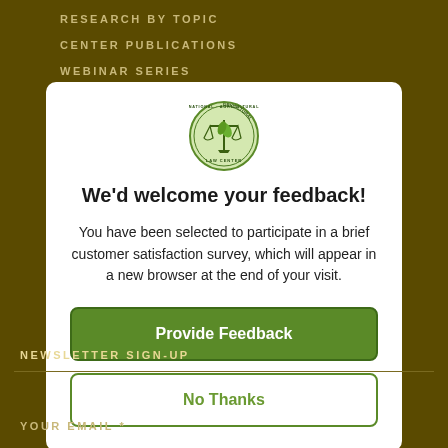RESEARCH BY TOPIC
CENTER PUBLICATIONS
WEBINAR SERIES
[Figure (logo): National Agricultural Law Center circular logo with scales of justice and wheat/plant imagery]
We'd welcome your feedback!
You have been selected to participate in a brief customer satisfaction survey, which will appear in a new browser at the end of your visit.
Provide Feedback
No Thanks
NEWSLETTER SIGN-UP
YOUR EMAIL *